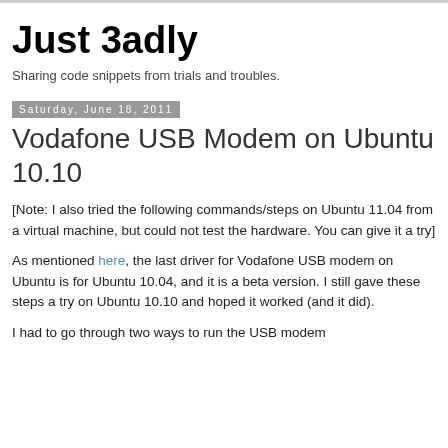Just 3adly
Sharing code snippets from trials and troubles.
Saturday, June 18, 2011
Vodafone USB Modem on Ubuntu 10.10
[Note: I also tried the following commands/steps on Ubuntu 11.04 from a virtual machine, but could not test the hardware. You can give it a try]
As mentioned here, the last driver for Vodafone USB modem on Ubuntu is for Ubuntu 10.04, and it is a beta version. I still gave these steps a try on Ubuntu 10.10 and hoped it worked (and it did).
I had to go through two ways to run the USB modem